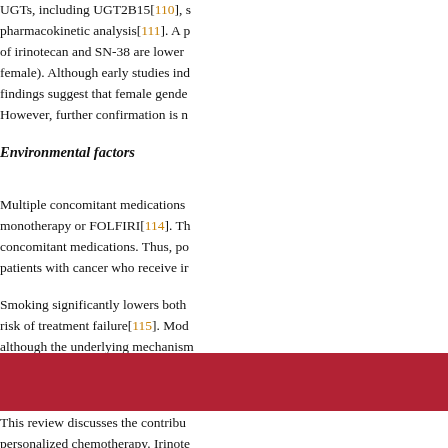UGTs, including UGT2B15[110], s pharmacokinetic analysis[111]. A p of irinotecan and SN-38 are lower female). Although early studies ind findings suggest that female gende However, further confirmation is n
Environmental factors
Multiple concomitant medications monotherapy or FOLFIRI[114]. Th concomitant medications. Thus, po patients with cancer who receive ir
Smoking significantly lowers both risk of treatment failure[115]. Mod although the underlying mechanism
[Figure (other): Red/crimson colored bar or header block]
This review discusses the contribu personalized chemotherapy. Irinote FU, oxaliplatin and molecularly-ta of irinotecan, is characterized by la